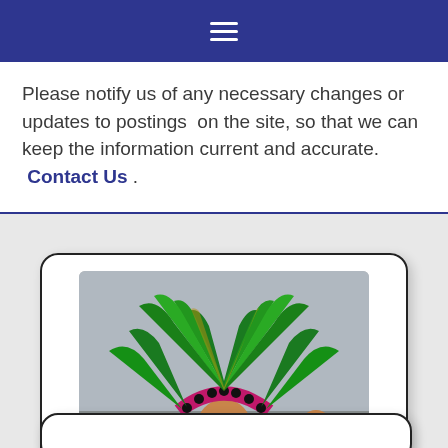Navigation menu header bar
Please notify us of any necessary changes or updates to postings on the site, so that we can keep the information current and accurate. Contact Us .
[Figure (photo): Person wearing a large elaborate green and pink feathered Aztec headdress at a cultural parade or festival, photographed outdoors with other participants visible in background]
Immigrant Info